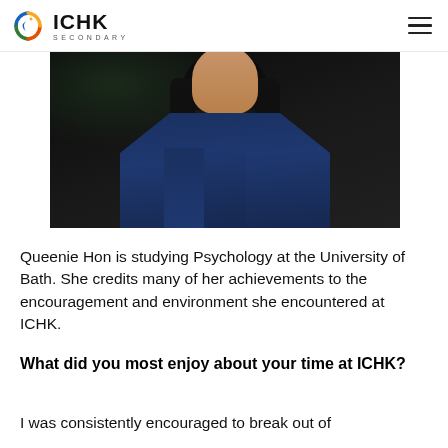ICHK SECONDARY
[Figure (photo): A woman wearing a blue top and dark navy jacket photographed against a dark background, shown from shoulders up to mid-torso.]
Queenie Hon is studying Psychology at the University of Bath. She credits many of her achievements to the encouragement and environment she encountered at ICHK.
What did you most enjoy about your time at ICHK?
I was consistently encouraged to break out of